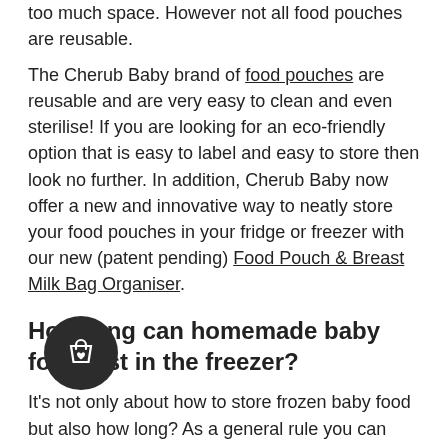too much space. However not all food pouches are reusable.
The Cherub Baby brand of food pouches are reusable and are very easy to clean and even sterilise! If you are looking for an eco-friendly option that is easy to label and easy to store then look no further. In addition, Cherub Baby now offer a new and innovative way to neatly store your food pouches in your fridge or freezer with our new (patent pending) Food Pouch & Breast Milk Bag Organiser.
How long can homemade baby food last in the freezer?
It's not only about how to store frozen baby food but also how long? As a general rule you can freeze your homemade baby purees for 3-6 months. However, if you want to have the best quality, and keep the majority of the nutrients, it is best to use the baby food within the first 3 months. Always make sure you keep frozen baby food at the back of the freezer, and not in the door where it may be subject to temperature fluctuations.